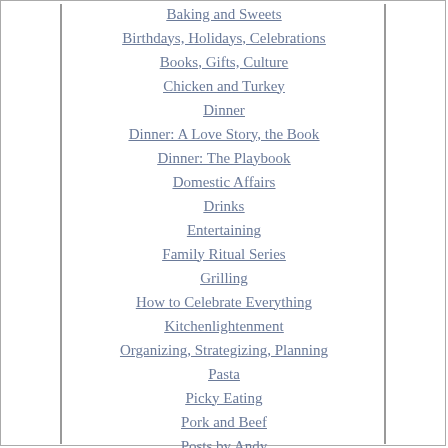Baking and Sweets
Birthdays, Holidays, Celebrations
Books, Gifts, Culture
Chicken and Turkey
Dinner
Dinner: A Love Story, the Book
Dinner: The Playbook
Domestic Affairs
Drinks
Entertaining
Family Ritual Series
Grilling
How to Celebrate Everything
Kitchenlightenment
Organizing, Strategizing, Planning
Pasta
Picky Eating
Pork and Beef
Posts by Andy